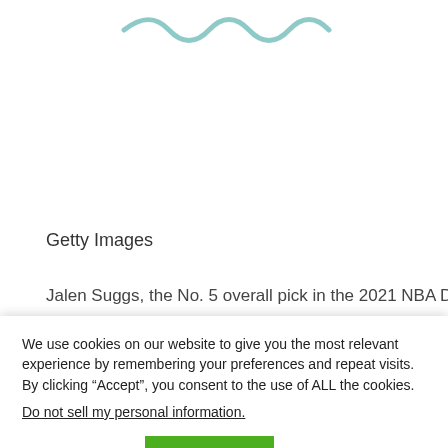[Figure (illustration): Wavy decorative line graphic in light teal/green color at the top of the page]
Getty Images
Jalen Suggs, the No. 5 overall pick in the 2021 NBA Draft
We use cookies on our website to give you the most relevant experience by remembering your preferences and repeat visits. By clicking “Accept”, you consent to the use of ALL the cookies.
Do not sell my personal information.
Cookie settings
ACCEPT